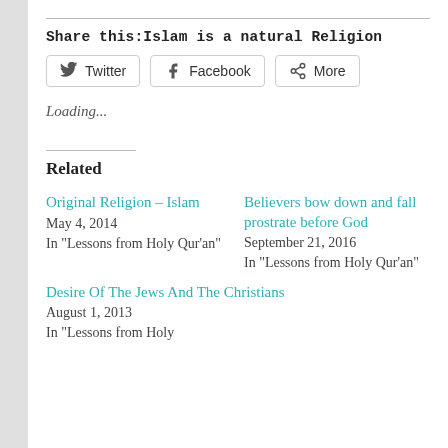Share this:Islam is a natural Religion
Twitter
Facebook
More
Loading...
Related
Original Religion – Islam
May 4, 2014
In "Lessons from Holy Qur'an"
Believers bow down and fall prostrate before God
September 21, 2016
In "Lessons from Holy Qur'an"
Desire Of The Jews And The Christians
August 1, 2013
In "Lessons from Holy